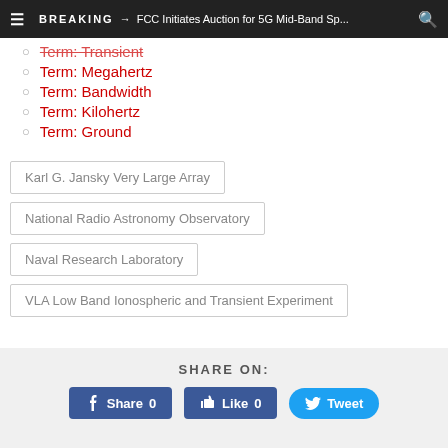BREAKING → FCC Initiates Auction for 5G Mid-Band Sp...
Term: Transient
Term: Megahertz
Term: Bandwidth
Term: Kilohertz
Term: Ground
Karl G. Jansky Very Large Array
National Radio Astronomy Observatory
Naval Research Laboratory
VLA Low Band Ionospheric and Transient Experiment
SHARE ON:
Share 0
Like 0
Tweet